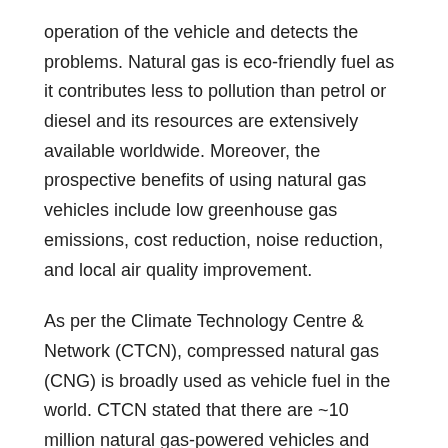operation of the vehicle and detects the problems. Natural gas is eco-friendly fuel as it contributes less to pollution than petrol or diesel and its resources are extensively available worldwide. Moreover, the prospective benefits of using natural gas vehicles include low greenhouse gas emissions, cost reduction, noise reduction, and local air quality improvement.
As per the Climate Technology Centre & Network (CTCN), compressed natural gas (CNG) is broadly used as vehicle fuel in the world. CTCN stated that there are ~10 million natural gas-powered vehicles and ~15,000 CNG refueling stations in ~75 countries. In countries with substantial gas reserves and limited oil reserves, the use of natural gas in transport can lower the dependency on costly oil imports. The global natural gas vehicle market is currently a niche market as the current share of natural gas in road